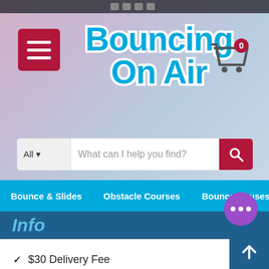Social media icons bar
[Figure (logo): Bouncing On Air logo with blue text and white outline on blurred pink-blue background, with hamburger menu button (dark red) on left and shopping cart icon on right]
What can I help you find?
Bounce & Slides  Obstacle Courses  Bounce Houses  W
Info
✓ $30 Delivery Fee
✓ USA MADE Inflatables
✓ Safest Equipment
✓ 100% Customer Satisfaction Guarantee